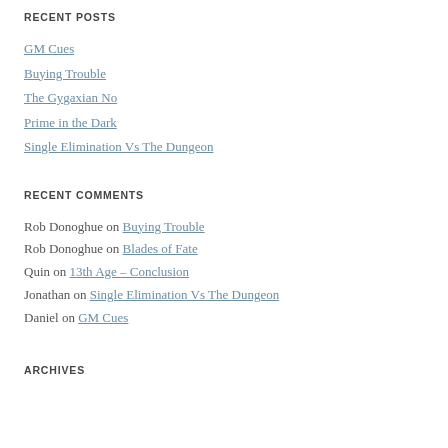RECENT POSTS
GM Cues
Buying Trouble
The Gygaxian No
Prime in the Dark
Single Elimination Vs The Dungeon
RECENT COMMENTS
Rob Donoghue on Buying Trouble
Rob Donoghue on Blades of Fate
Quin on 13th Age – Conclusion
Jonathan on Single Elimination Vs The Dungeon
Daniel on GM Cues
ARCHIVES